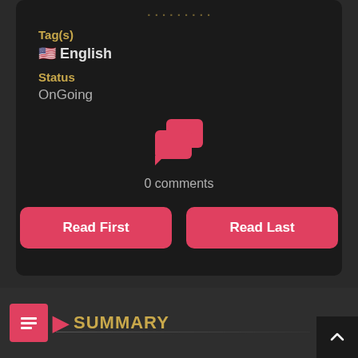Tag(s)
🇺🇸 English
Status
OnGoing
[Figure (illustration): Chat/comment bubble icon in red/pink color]
0 comments
Read First
Read Last
SUMMARY